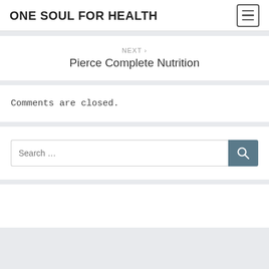ONE SOUL FOR HEALTH
NEXT > Pierce Complete Nutrition
Comments are closed.
Search …